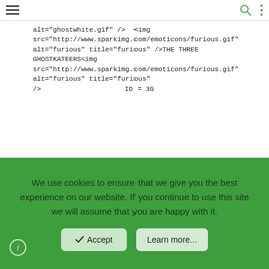[Figure (screenshot): Navigation bar with hamburger menu icon, search icon, and vertical dots menu icon]
alt="ghostwhite.gif" /> <img src="http://www.sparkimg.com/emoticons/furious.gif" alt="furious" title="furious" />THE THREE GHOSTKATEERS<img src="http://www.sparkimg.com/emoticons/furious.gif" alt="furious" title="furious" />
/>                     ID = 3G
[Figure (screenshot): User card showing avatar with letter D in orange circle, username Deborilla in green, WELL-KNOWN MEMBER role label]
We use cookies to ensure that we give you the best experience on our website. If you continue to use this site we will assume that you are happy with it.